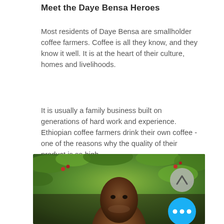Meet the Daye Bensa Heroes
Most residents of Daye Bensa are smallholder coffee farmers. Coffee is all they know, and they know it well. It is at the heart of their culture, homes and livelihoods.
It is usually a family business built on generations of hard work and experience. Ethiopian coffee farmers drink their own coffee - one of the reasons why the quality of their product is so high.
[Figure (photo): Close-up photo of an Ethiopian coffee farmer smiling, with lush green coffee plant foliage in the background. A scroll-up navigation button and a blue more-options button are overlaid on the photo.]